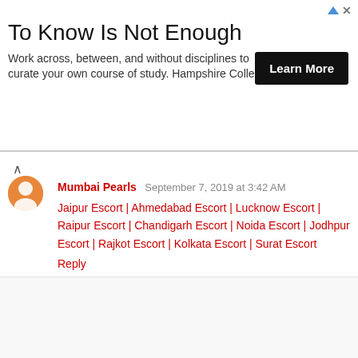[Figure (other): Advertisement banner: 'To Know Is Not Enough' with Hampshire College branding and 'Learn More' button]
Mumbai Pearls September 7, 2019 at 3:42 AM
Jaipur Escort | Ahmedabad Escort | Lucknow Escort | Raipur Escort | Chandigarh Escort | Noida Escort | Jodhpur Escort | Rajkot Escort | Kolkata Escort | Surat Escort
Reply
emilyjohnson September 9, 2019 at 12:45 AM
For you currently it's been anything but difficult to arrangement Microsoft office in your framework. It wants each working framework and gadget including your cell phones. You can go to norton.com/setup to download the total office bundle and Enter office setup key code to enact office.